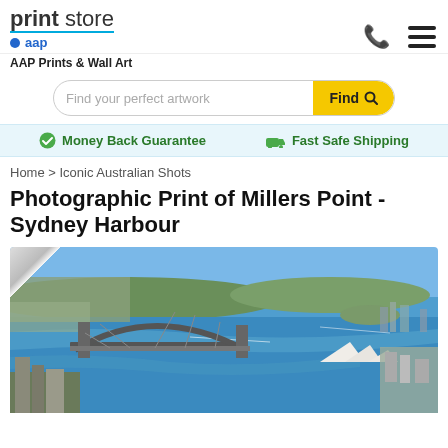print store • aap
AAP Prints & Wall Art
Find your perfect artwork  [Find]
Money Back Guarantee   Fast Safe Shipping
Home > Iconic Australian Shots
Photographic Print of Millers Point - Sydney Harbour
[Figure (photo): Aerial photograph of Sydney Harbour showing the Sydney Harbour Bridge on the left, Opera House on the right, with the harbour waters and surrounding suburbs stretching into the distance.]